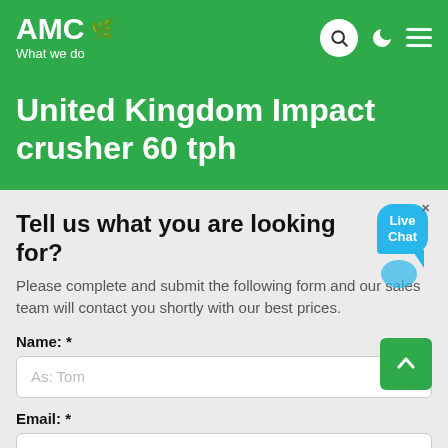AMC — What we do
United Kingdom Impact crusher 60 tph
Tell us what you are looking for?
Please complete and submit the following form and our sales team will contact you shortly with our best prices.
Name: *
As: Tom
Email: *
As: vip@shanghaimeilan.com
Phone: *